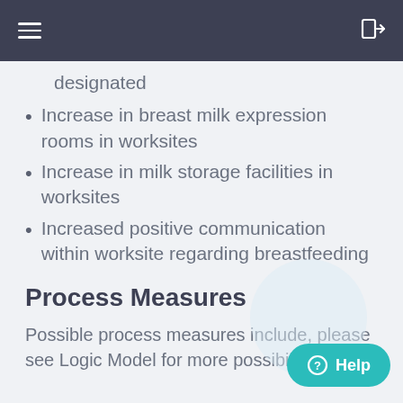☰  →]
designated
Increase in breast milk expression rooms in worksites
Increase in milk storage facilities in worksites
Increased positive communication within worksite regarding breastfeeding
Process Measures
Possible process measures include, please see Logic Model for more possibili…